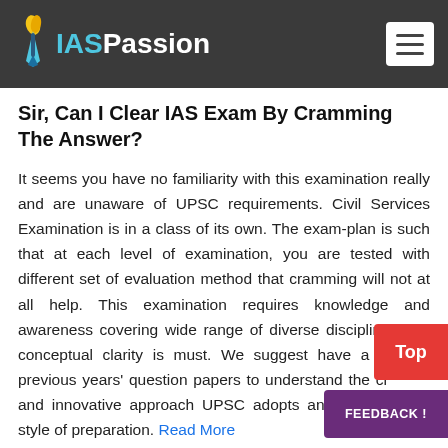IASPassion
Sir, Can I Clear IAS Exam By Cramming The Answer?
It seems you have no familiarity with this examination really and are unaware of UPSC requirements. Civil Services Examination is in a class of its own. The exam-plan is such that at each level of examination, you are tested with different set of evaluation method that cramming will not at all help. This examination requires knowledge and awareness covering wide range of diverse disciplines and conceptual clarity is must. We suggest have a look at previous years' question papers to understand the creative and innovative approach UPSC adopts and change your style of preparation. Read More